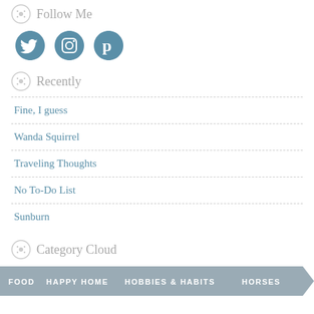Follow Me
[Figure (illustration): Three social media icons: Twitter bird, Instagram camera, Pinterest P — all in teal/steel blue color]
Recently
Fine, I guess
Wanda Squirrel
Traveling Thoughts
No To-Do List
Sunburn
Category Cloud
[Figure (infographic): Category cloud banner in grey-blue with labels: FOOD, HAPPY HOME, HOBBIES & HABITS, HORSES with arrow chevron on right]